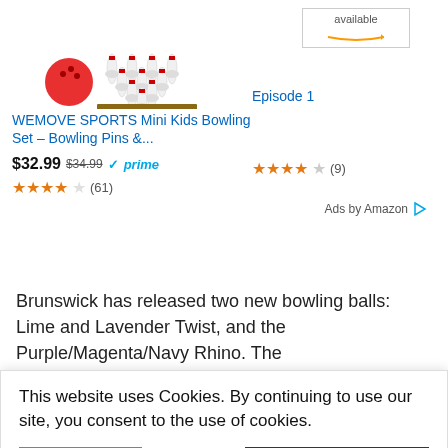[Figure (screenshot): Bowling pins and ball product image on left, Amazon available badge on right]
WEMOVE SPORTS Mini Kids Bowling Set – Bowling Pins &...
Episode 1
$32.99  $34.99  ✓prime
★★★★☆ (61)
★★★★☆ (9)
Ads by Amazon ▷
Brunswick has released two new bowling balls: Lime and Lavender Twist, and the Purple/Magenta/Navy Rhino. The
ATTENTION REQU
This website uses Cookies. By continuing to use our site, you consent to the use of cookies.
Accept
Privacy Center
the newest bowling balls –